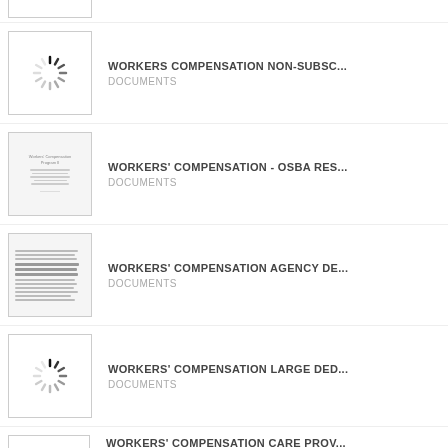WORKERS COMPENSATION NON-SUBSC... | DOCUMENTS
WORKERS' COMPENSATION - OSBA RES... | DOCUMENTS
WORKERS' COMPENSATION AGENCY DE... | DOCUMENTS
WORKERS' COMPENSATION LARGE DED... | DOCUMENTS
WORKERS' COMPENSATION CARE PROV... | DOCUMENTS